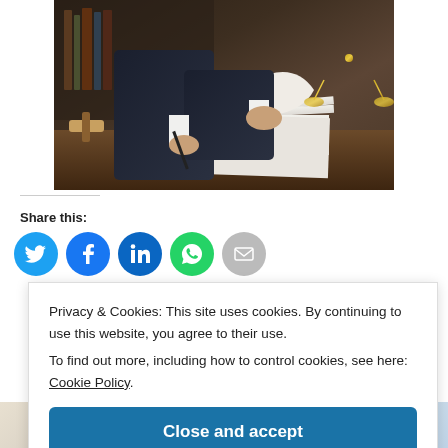[Figure (photo): A lawyer or judge in a dark suit signing or reviewing documents at a desk, with a gavel on the left and a gold scales of justice on the right.]
Share this:
[Figure (infographic): Social sharing icons: Twitter (blue), Facebook (blue), LinkedIn (blue), WhatsApp (green), Email (grey)]
Privacy & Cookies: This site uses cookies. By continuing to use this website, you agree to their use.
To find out more, including how to control cookies, see here: Cookie Policy.
Close and accept
[Figure (photo): Partial bottom strip showing thumbnail images of documents or legal imagery]